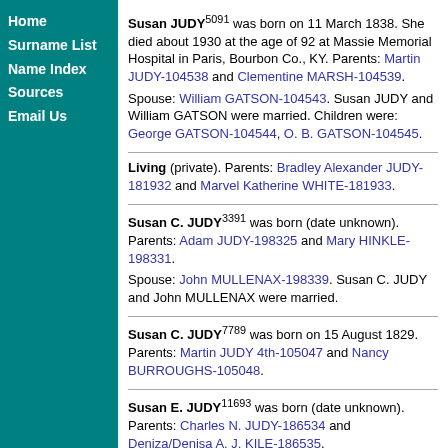Home
Surname List
Name Index
Sources
Email Us
Susan JUDY^5091 was born on 11 March 1838. She died about 1930 at the age of 92 at Massie Memorial Hospital in Paris, Bourbon Co., KY. Parents: Martin JUDY-104538 and Clementine MARSH-104539. Spouse: William GATSON-104543. Susan JUDY and William GATSON were married. Children were: George GATSON-104544, O. B. GATSON-104545.
Living (private). Parents: Bradley Alexander JUDY-181932 and Marvel Katherine WHITE-181933.
Susan C. JUDY^3391 was born (date unknown). Parents: Adam JUDY-198325 and Mary HINKLE-198331. Spouse: John MULLENAX-198339. Susan C. JUDY and John MULLENAX were married.
Susan C. JUDY^7789 was born on 15 August 1829. Parents: Martin JUDY 4th-105047 and Nancy BURROUGHS-105048.
Susan E. JUDY^11693 was born (date unknown). Parents: Charles N. JUDY-186534 and Deniza/Denisa A. J. KILE-186535.
Susan Elizabeth JUDY^11877 was born on 20 February 1849. She died on 27 November 1879 at the age of 30. Parents: